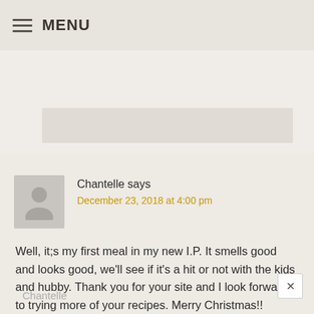MENU
Chantelle says
December 23, 2018 at 4:00 pm

Well, it;s my first meal in my new I.P. It smells good and looks good, we'll see if it's a hit or not with the kids and hubby. Thank you for your site and I look forward to trying more of your recipes. Merry Christmas!!
Chantelle